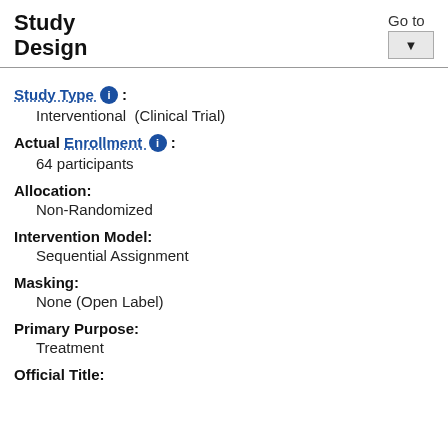Study Design
Go to
Study Type : Interventional (Clinical Trial)
Interventional  (Clinical Trial)
Actual Enrollment : 64 participants
64 participants
Allocation:
Non-Randomized
Intervention Model:
Sequential Assignment
Masking:
None (Open Label)
Primary Purpose:
Treatment
Official Title: